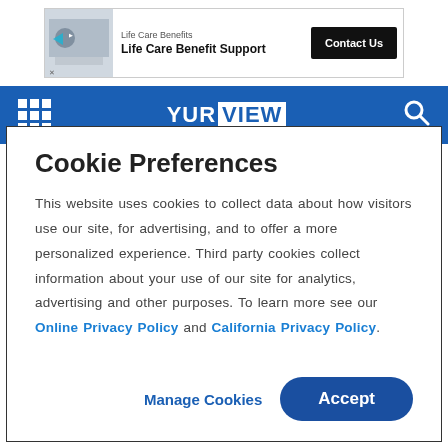[Figure (screenshot): Advertisement banner for Life Care Benefits / Life Care Benefit Support with a Contact Us button]
[Figure (screenshot): YurView website navigation bar with grid menu icon, YurView logo, and search icon on blue background]
Cookie Preferences
This website uses cookies to collect data about how visitors use our site, for advertising, and to offer a more personalized experience. Third party cookies collect information about your use of our site for analytics, advertising and other purposes. To learn more see our Online Privacy Policy and California Privacy Policy.
Manage Cookies | Accept